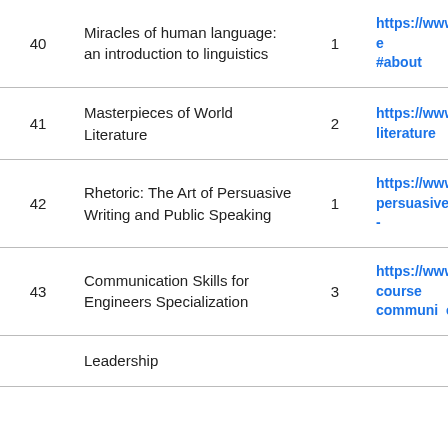| # | Course Title | Count | URL |
| --- | --- | --- | --- |
| 40 | Miracles of human language: an introduction to linguistics | 1 | https://www.course#about |
| 41 | Masterpieces of World Literature | 2 | https://www.edx.or literature |
| 42 | Rhetoric: The Art of Persuasive Writing and Public Speaking | 1 | https://www.edx.or persuasive-writing- |
| 43 | Communication Skills for Engineers Specialization | 3 | https://www.coursera communi eng |
|  | Leadership |  |  |